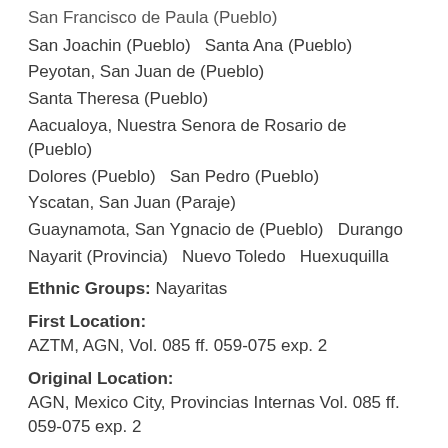San Francisco de Paula (Pueblo)
San Joachin (Pueblo)   Santa Ana (Pueblo)
Peyotan, San Juan de (Pueblo)
Santa Theresa (Pueblo)
Aacualoya, Nuestra Senora de Rosario de (Pueblo)
Dolores (Pueblo)   San Pedro (Pueblo)
Yscatan, San Juan (Paraje)
Guaynamota, San Ygnacio de (Pueblo)   Durango
Nayarit (Provincia)   Nuevo Toledo   Huexuquilla
Ethnic Groups: Nayaritas
First Location:
AZTM, AGN, Vol. 085 ff. 059-075 exp. 2
Original Location:
AGN, Mexico City, Provincias Internas Vol. 085 ff. 059-075 exp. 2